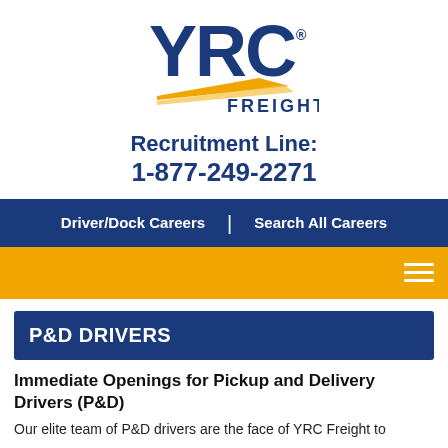[Figure (logo): YRC Freight logo with blue YRC text and orange arrow/swoosh graphic and FREIGHT text below]
Recruitment Line:
1-877-249-2271
Driver/Dock Careers | Search All Careers
P&D DRIVERS
Immediate Openings for Pickup and Delivery Drivers (P&D)
Our elite team of P&D drivers are the face of YRC Freight to